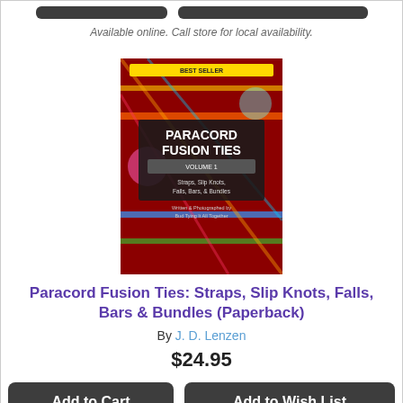Available online. Call store for local availability.
[Figure (photo): Book cover of Paracord Fusion Ties Volume 1: Straps, Slip Knots, Falls, Bars, & Bundles with colorful paracord designs on dark red background]
Paracord Fusion Ties: Straps, Slip Knots, Falls, Bars & Bundles (Paperback)
By J. D. Lenzen
$24.95
Available online. Call store for local availability.
[Figure (photo): Book cover of Zigzag Rope Sewing Projects — partial view showing rope basket]